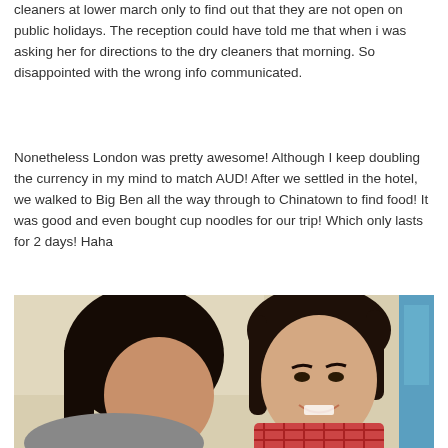cleaners at lower march only to find out that they are not open on public holidays. The reception could have told me that when i was asking her for directions to the dry cleaners that morning. So disappointed with the wrong info communicated.
Nonetheless London was pretty awesome! Although I keep doubling the currency in my mind to match AUD! After we settled in the hotel, we walked to Big Ben all the way through to Chinatown to find food! It was good and even bought cup noodles for our trip! Which only lasts for 2 days! Haha
[Figure (photo): A selfie-style photo of two people, a woman on the left with long dark hair and a man on the right with longer dark hair wearing a red checkered shirt, smiling at the camera. There is a turquoise/blue object visible on the right edge.]